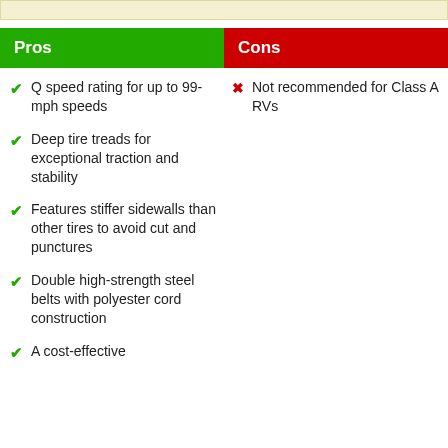| Pros | Cons |
| --- | --- |
| Q speed rating for up to 99-mph speeds | Not recommended for Class A RVs |
| Deep tire treads for exceptional traction and stability |  |
| Features stiffer sidewalls than other tires to avoid cut and punctures |  |
| Double high-strength steel belts with polyester cord construction |  |
| A cost-effective |  |